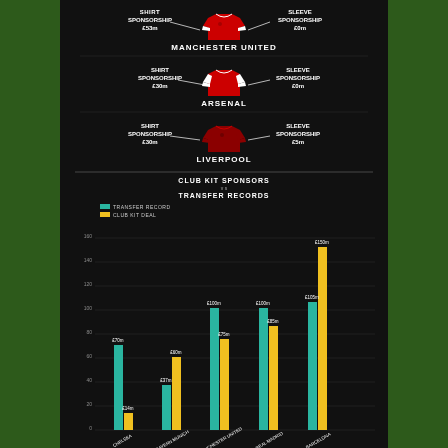[Figure (infographic): Football kit sponsorship infographic showing shirt and sleeve sponsorship values for Manchester United (Shirt: £53m, Sleeve: £0m), Arsenal (Shirt: £30m, Sleeve: £0m), and Liverpool (Shirt: £30m, Sleeve: £5m) with club kit sponsors vs transfer records bar chart for Chelsea, Bayern Munich, Manchester United, Real Madrid, and Barcelona.]